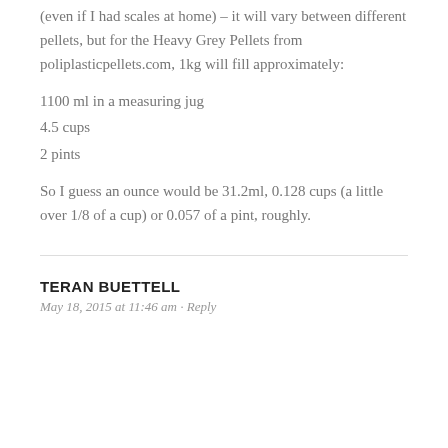(even if I had scales at home) – it will vary between different pellets, but for the Heavy Grey Pellets from poliplasticpellets.com, 1kg will fill approximately:
1100 ml in a measuring jug
4.5 cups
2 pints
So I guess an ounce would be 31.2ml, 0.128 cups (a little over 1/8 of a cup) or 0.057 of a pint, roughly.
TERAN BUETTELL
May 18, 2015 at 11:46 am · Reply